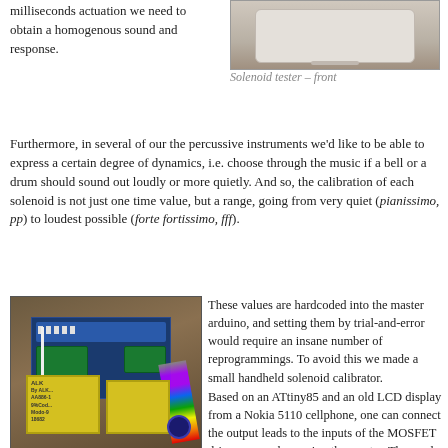milliseconds actuation we need to obtain a homogenous sound and response.
[Figure (photo): Solenoid tester – front view, showing a white rectangular device on a wooden surface]
Solenoid tester – front
Furthermore, in several of our the percussive instruments we'd like to be able to express a certain degree of dynamics, i.e. choose through the music if a bell or a drum should sound out loudly or more quietly. And so, the calibration of each solenoid is not just one time value, but a range, going from very quiet (pianissimo, pp) to loudest possible (forte fortissimo, fff).
[Figure (photo): Interior of the solenoid calibrator device showing a circuit board with ATtiny85, Nokia 5110 LCD, MOSFET driver arrays, rainbow ribbon cable, and yellow batteries inside a grey plastic enclosure]
These values are hardcoded into the master arduino, and setting them by trial-and-error would require an insane number of reprogrammings. To avoid this we made a small handheld solenoid calibrator.
Based on an ATtiny85 and an old LCD display from a Nokia 5110 cellphone, one can connect the output leads to the inputs of the MOSFET driver arrays, bypassing the master. The sends an activation pulse every second, and using the potentiometer on the front we can set a precise pulse length in milliseconds. This enables us